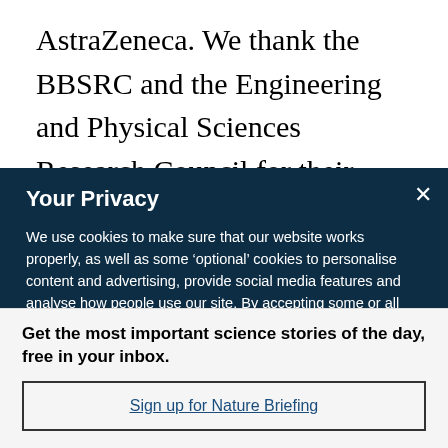AstraZeneca. We thank the BBSRC and the Engineering and Physical Sciences Research Council for their financial support to The
Your Privacy
We use cookies to make sure that our website works properly, as well as some ‘optional’ cookies to personalise content and advertising, provide social media features and analyse how people use our site. By accepting some or all optional cookies you give consent to the processing of your personal data, including transfer to third parties, some in countries outside of the European Economic Area that do not offer the same data protection standards as the country where you live. You can decide which optional cookies to accept by clicking on ‘Manage Settings’, where you can
Get the most important science stories of the day, free in your inbox.
Sign up for Nature Briefing